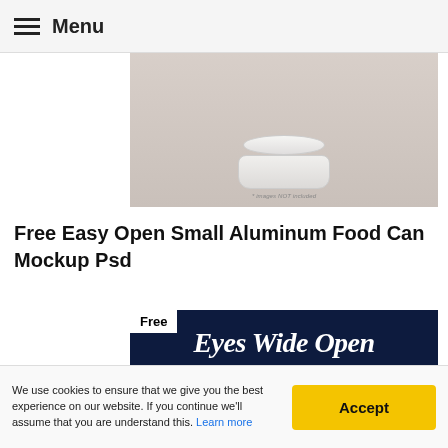Menu
[Figure (photo): Aluminum food can mockup on a light pinkish-gray background with text '* images NOT included']
Free Easy Open Small Aluminum Food Can Mockup Psd
[Figure (illustration): Dark navy background with white script text: 'Eyes Wide Open' / 'Complete Font And Commercial Licenses Available.' / 'More Infos Contact: billyargel@gmail.com' with a 'Free' badge in top left corner]
We use cookies to ensure that we give you the best experience on our website. If you continue we'll assume that you are understand this. Learn more